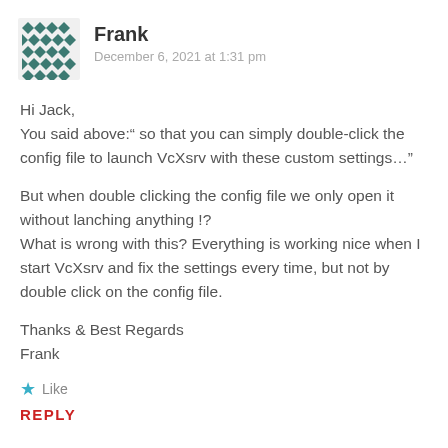Frank
December 6, 2021 at 1:31 pm
Hi Jack,
You said above:“ so that you can simply double-click the config file to launch VcXsrv with these custom settings…”

But when double clicking the config file we only open it without lanching anything !?
What is wrong with this? Everything is working nice when I start VcXsrv and fix the settings every time, but not by double click on the config file.

Thanks & Best Regards
Frank
Like
REPLY